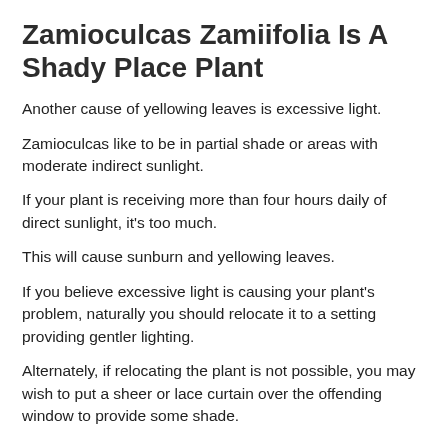Zamioculcas Zamiifolia Is A Shady Place Plant
Another cause of yellowing leaves is excessive light.
Zamioculcas like to be in partial shade or areas with moderate indirect sunlight.
If your plant is receiving more than four hours daily of direct sunlight, it's too much.
This will cause sunburn and yellowing leaves.
If you believe excessive light is causing your plant's problem, naturally you should relocate it to a setting providing gentler lighting.
Alternately, if relocating the plant is not possible, you may wish to put a sheer or lace curtain over the offending window to provide some shade.